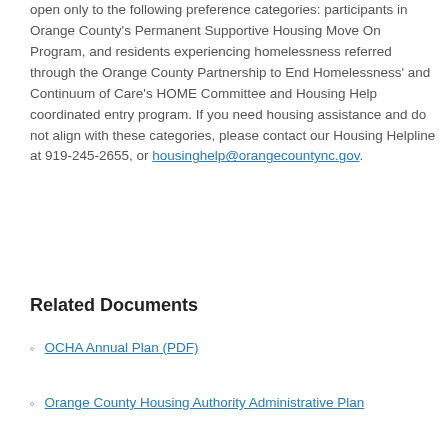open only to the following preference categories: participants in Orange County's Permanent Supportive Housing Move On Program, and residents experiencing homelessness referred through the Orange County Partnership to End Homelessness' and Continuum of Care's HOME Committee and Housing Help coordinated entry program. If you need housing assistance and do not align with these categories, please contact our Housing Helpline at 919-245-2655, or housinghelp@orangecountync.gov.
Related Documents
OCHA Annual Plan (PDF)
Orange County Housing Authority Administrative Plan